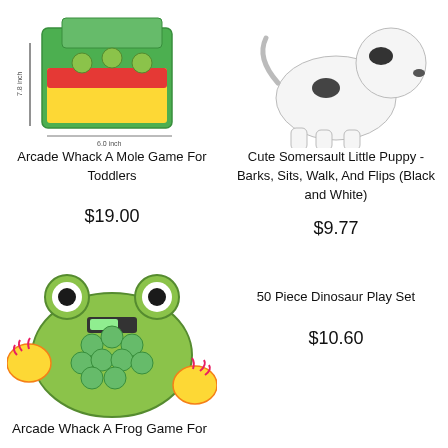[Figure (photo): Arcade Whack A Mole toy game for toddlers in green box with colorful characters]
Arcade Whack A Mole Game For Toddlers
$19.00
[Figure (photo): Cute Somersault Little Puppy stuffed toy, white with black spots]
Cute Somersault Little Puppy - Barks, Sits, Walk, And Flips (Black and White)
$9.77
[Figure (photo): Arcade Whack A Frog Game - green frog shaped toy with frog head buttons]
Arcade Whack A Frog Game For
50 Piece Dinosaur Play Set
$10.60